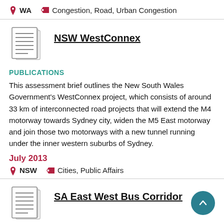WA   Congestion, Road, Urban Congestion
NSW WestConnex
PUBLICATIONS
This assessment brief outlines the New South Wales Government's WestConnex project, which consists of around 33 km of interconnected road projects that will extend the M4 motorway towards Sydney city, widen the M5 East motorway and join those two motorways with a new tunnel running under the inner western suburbs of Sydney.
July 2013
NSW   Cities, Public Affairs
SA East West Bus Corridor
PUBLICATIONS